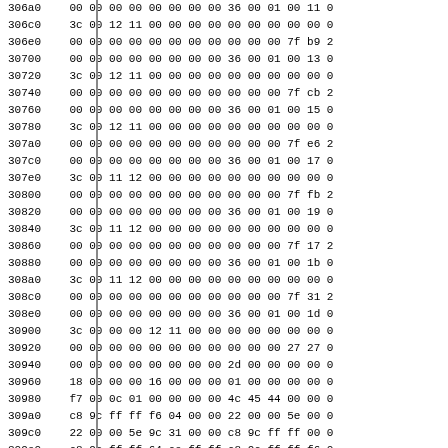| Address | 00 | 01 | 02 | 03 | 04 | 05 | 06 | 07 | 08 | 09 | 0a | 0b | 0c | 0d |
| --- | --- | --- | --- | --- | --- | --- | --- | --- | --- | --- | --- | --- | --- | --- |
| 306a0 | 00 | 00 | 00 | 00 | 00 | 00 | 00 | 00 | 36 | 00 | 01 | 00 | 11 | 0 |
| 306c0 | 3c | 00 | 12 | 11 | 00 | 00 | 00 | 00 | 00 | 00 | 00 | 00 | 00 | 0 |
| 306e0 | 00 | 00 | 00 | 00 | 00 | 00 | 00 | 00 | 00 | 00 | 00 | 7f | b9 | 2 |
| 30700 | 00 | 00 | 00 | 00 | 00 | 00 | 00 | 00 | 36 | 00 | 01 | 00 | 13 | 0 |
| 30720 | 3c | 00 | 12 | 11 | 00 | 00 | 00 | 00 | 00 | 00 | 00 | 00 | 00 | 0 |
| 30740 | 00 | 00 | 00 | 00 | 00 | 00 | 00 | 00 | 00 | 00 | 00 | 7f | cb | 2 |
| 30760 | 00 | 00 | 00 | 00 | 00 | 00 | 00 | 00 | 36 | 00 | 01 | 00 | 15 | 0 |
| 30780 | 3c | 00 | 12 | 11 | 00 | 00 | 00 | 00 | 00 | 00 | 00 | 00 | 00 | 0 |
| 307a0 | 00 | 00 | 00 | 00 | 00 | 00 | 00 | 00 | 00 | 00 | 00 | 7f | e6 | 2 |
| 307c0 | 00 | 00 | 00 | 00 | 00 | 00 | 00 | 00 | 36 | 00 | 01 | 00 | 17 | 0 |
| 307e0 | 3c | 00 | 11 | 12 | 00 | 00 | 00 | 00 | 00 | 00 | 00 | 00 | 00 | 0 |
| 30800 | 00 | 00 | 00 | 00 | 00 | 00 | 00 | 00 | 00 | 00 | 00 | 7f | fb | 2 |
| 30820 | 00 | 00 | 00 | 00 | 00 | 00 | 00 | 00 | 36 | 00 | 01 | 00 | 19 | 0 |
| 30840 | 3c | 00 | 11 | 12 | 00 | 00 | 00 | 00 | 00 | 00 | 00 | 00 | 00 | 0 |
| 30860 | 00 | 00 | 00 | 00 | 00 | 00 | 00 | 00 | 00 | 00 | 00 | 7f | 17 | 2 |
| 30880 | 00 | 00 | 00 | 00 | 00 | 00 | 00 | 00 | 36 | 00 | 01 | 00 | 1b | 0 |
| 308a0 | 3c | 00 | 11 | 12 | 00 | 00 | 00 | 00 | 00 | 00 | 00 | 00 | 00 | 0 |
| 308c0 | 00 | 00 | 00 | 00 | 00 | 00 | 00 | 00 | 00 | 00 | 00 | 7f | 31 | 2 |
| 308e0 | 00 | 00 | 00 | 00 | 00 | 00 | 00 | 00 | 36 | 00 | 01 | 00 | 1d | 0 |
| 30900 | 3c | 00 | 00 | 00 | 12 | 11 | 00 | 00 | 00 | 00 | 00 | 00 | 00 | 0 |
| 30920 | 00 | 00 | 00 | 00 | 00 | 00 | 00 | 00 | 00 | 00 | 00 | 27 | 27 | 0 |
| 30940 | 00 | 00 | 00 | 00 | 00 | 00 | 00 | 00 | 2d | 00 | 00 | 00 | 00 | 0 |
| 30960 | 18 | 00 | 00 | 00 | 16 | 00 | 00 | 00 | 01 | 00 | 00 | 00 | 00 | 0 |
| 30980 | f7 | 00 | 0c | 01 | 00 | 00 | 00 | 00 | 4c | 45 | 44 | 00 | 00 | 0 |
| 309a0 | c8 | 9c | ff | ff | f6 | 04 | 00 | 00 | 22 | 00 | 00 | 5e | 00 | 0 |
| 309c0 | 22 | 00 | 00 | 5e | 9c | 31 | 00 | 00 | c8 | 9c | ff | ff | 00 | 0 |
| 309e0 | c8 | 9c | ff | ff | 64 | ce | ff | ff | c8 | 9c | ff | ff | f6 | 0 |
| 30a00 | 00 | 00 | 00 | 00 | 00 | 00 | 00 | 00 | 2c | 00 | 00 | 00 | 00 | 0 |
| 30a20 | 31 | 00 | 01 | 5f | e8 | 8a | 00 | 00 | 68 | 4d | ff | ff | ba | 2 |
| 30a40 | 68 | 4d | ff | ff | ba | 22 | 20 | 00 | 00 | 04 | 3e | 56 | 41 |  |